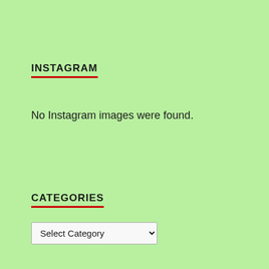INSTAGRAM
No Instagram images were found.
CATEGORIES
Select Category (dropdown)